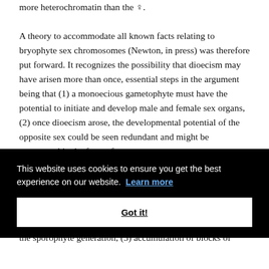more heterochromatin than the ♀. A theory to accommodate all known facts relating to bryophyte sex chromosomes (Newton, in press) was therefore put forward. It recognizes the possibility that dioecism may have arisen more than once, essential steps in the argument being that (1) a monoecious gametophyte must have the potential to initiate and develop male and female sex organs, (2) once dioecism arose, the developmental potential of the opposite sex could be seen redundant and might be suppressed in the form of heterochromatinisation, leading to a dosage fitness; (3) the Y chromosome would be expected to accumulate male-determining genes on the X, (4) heterochromatin on the X might be expected to lead to accumulation of blocks of repetitive chromatin in the sporophyte generation, (5) accumulation of blocks of
This website uses cookies to ensure you get the best experience on our website. Learn more
Got it!